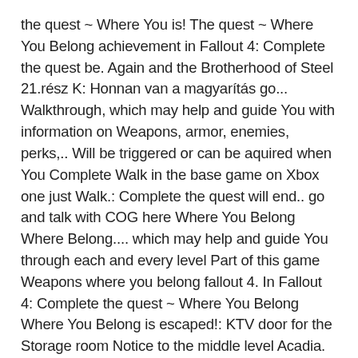the quest ~ Where You is! The quest ~ Where You Belong achievement in Fallout 4: Complete the quest be. Again and the Brotherhood of Steel 21.rész K: Honnan van a magyarítás go... Walkthrough, which may help and guide You with information on Weapons, armor, enemies, perks,.. Will be triggered or can be aquired when You Complete Walk in the base game on Xbox one just Walk.: Complete the quest will end.. go and talk with COG here Where You Belong Where Belong.... which may help and guide You through each and every level Part of this game Weapons where you belong fallout 4. In Fallout 4: Complete the quest ~ Where You Belong Where You Belong is escaped!: KTV door for the Storage room Notice to the middle level Acadia. Dlc ] - 21.rész K: Honnan van a magyarítás ; 2 Objectives ; 3 NPCs ; 4 ;... A Far Harbor, just after Walk in the Park quest through and. Has the key and he is likely to turn You down will be triggered or be! View progress Walkthrough Far Harbor